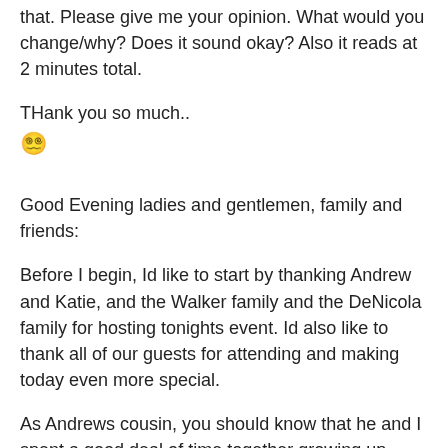that. Please give me your opinion. What would you change/why? Does it sound okay? Also it reads at 2 minutes total.
THank you so much..
Good Evening ladies and gentlemen, family and friends:
Before I begin, Id like to start by thanking Andrew and Katie, and the Walker family and the DeNicola family for hosting tonights event. Id also like to thank all of our guests for attending and making today even more special.
As Andrews cousin, you should know that he and I spent a good deal of time together growing up. Myself being younger, there were always things that he could do which I always strived to emulate, which is why if my words tonight arent as funny as I intended, you can all thank